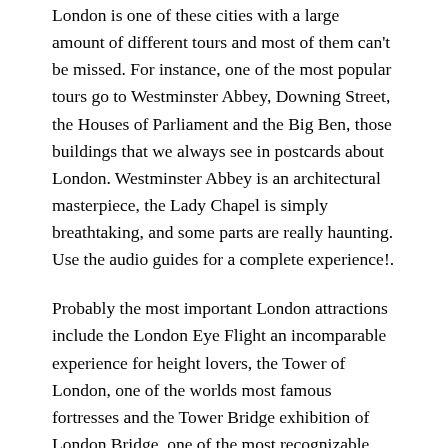London is one of these cities with a large amount of different tours and most of them can't be missed. For instance, one of the most popular tours go to Westminster Abbey, Downing Street, the Houses of Parliament and the Big Ben, those buildings that we always see in postcards about London. Westminster Abbey is an architectural masterpiece, the Lady Chapel is simply breathtaking, and some parts are really haunting. Use the audio guides for a complete experience!.
Probably the most important London attractions include the London Eye Flight an incomparable experience for height lovers, the Tower of London, one of the worlds most famous fortresses and the Tower Bridge exhibition of London Bridge, one of the most recognizable bridges of the world. Those staying at a London vacation rental with kids should consider visiting the London Zoo in Regents Park.